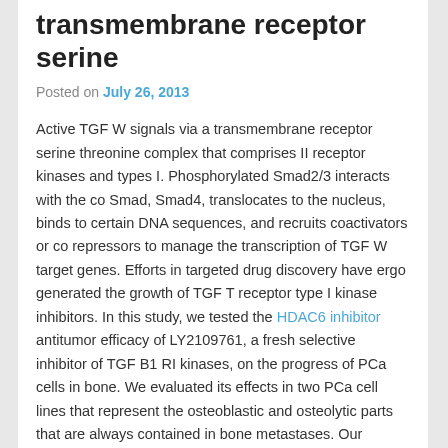transmembrane receptor serine
Posted on July 26, 2013
Active TGF W signals via a transmembrane receptor serine threonine complex that comprises II receptor kinases and types I. Phosphorylated Smad2/3 interacts with the co Smad, Smad4, translocates to the nucleus, binds to certain DNA sequences, and recruits coactivators or co repressors to manage the transcription of TGF W target genes. Efforts in targeted drug discovery have ergo generated the growth of TGF T receptor type I kinase inhibitors. In this study, we tested the HDAC6 inhibitor antitumor efficacy of LY2109761, a fresh selective inhibitor of TGF B1 RI kinases, on the progress of PCa cells in bone. We evaluated its effects in two PCa cell lines that represent the osteoblastic and osteolytic parts that are always contained in bone metastases. Our findings support the improvement of therapies targeting TGF B1 for high level PCa. The human cell line MDA PCa 2b, a